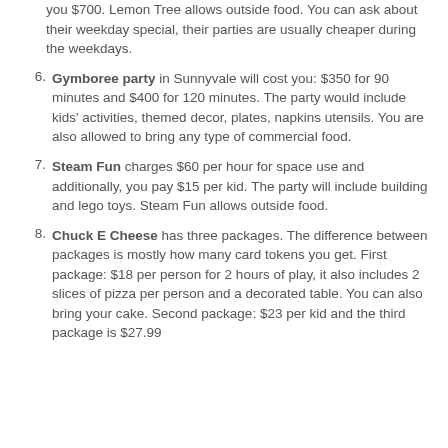you $700. Lemon Tree allows outside food. You can ask about their weekday special, their parties are usually cheaper during the weekdays.
Gymboree party in Sunnyvale will cost you: $350 for 90 minutes and $400 for 120 minutes. The party would include kids' activities, themed decor, plates, napkins utensils. You are also allowed to bring any type of commercial food.
Steam Fun charges $60 per hour for space use and additionally, you pay $15 per kid. The party will include building and lego toys. Steam Fun allows outside food.
Chuck E Cheese has three packages. The difference between packages is mostly how many card tokens you get. First package: $18 per person for 2 hours of play, it also includes 2 slices of pizza per person and a decorated table. You can also bring your cake. Second package: $23 per kid and the third package is $27.99